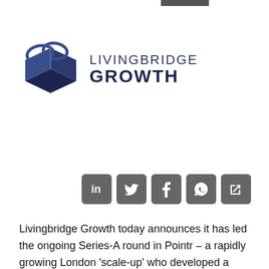[Figure (logo): Livingbridge Growth logo with abstract geometric mark and text 'LIVINGBRIDGE GROWTH']
[Figure (infographic): Social media sharing icons: LinkedIn, Twitter, Facebook, WhatsApp, and a link/share icon — grey rounded square buttons]
Livingbridge Growth today announces it has led the ongoing Series-A round in Pointr – a rapidly growing London 'scale-up' who developed a technology platform enabling 'Smart Indoors' for retail, transport and industrial markets. The growth capital investment has been made using funds from the